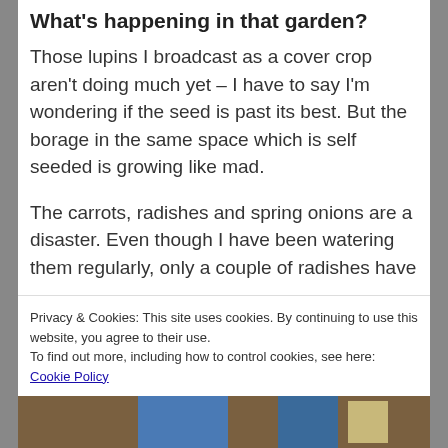What's happening in that garden?
Those lupins I broadcast as a cover crop aren't doing much yet – I have to say I'm wondering if the seed is past its best. But the borage in the same space which is self seeded is growing like mad.
The carrots, radishes and spring onions are a disaster. Even though I have been watering them regularly, only a couple of radishes have
Privacy & Cookies: This site uses cookies. By continuing to use this website, you agree to their use.
To find out more, including how to control cookies, see here: Cookie Policy
Close and accept
[Figure (photo): Photo strip at bottom of page showing garden or outdoor scene with blue elements]